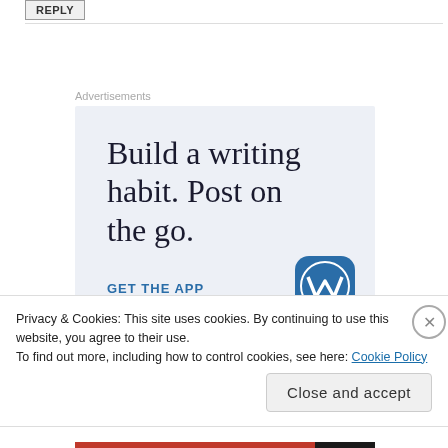REPLY
Advertisements
[Figure (infographic): WordPress advertisement banner with text 'Build a writing habit. Post on the go.' and a 'GET THE APP' call to action with WordPress logo icon on a light blue-grey background.]
Privacy & Cookies: This site uses cookies. By continuing to use this website, you agree to their use.
To find out more, including how to control cookies, see here: Cookie Policy
Close and accept